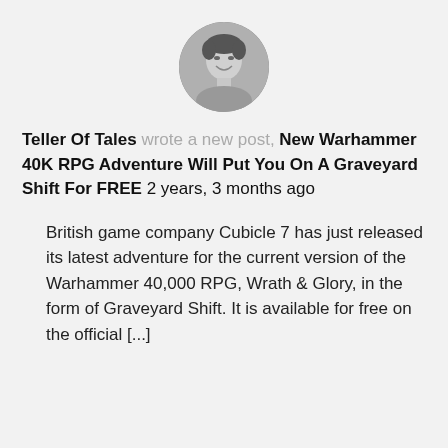[Figure (photo): Circular profile photo of a smiling young man in black and white]
Teller Of Tales wrote a new post, New Warhammer 40K RPG Adventure Will Put You On A Graveyard Shift For FREE 2 years, 3 months ago
British game company Cubicle 7 has just released its latest adventure for the current version of the Warhammer 40,000 RPG, Wrath & Glory, in the form of Graveyard Shift. It is available for free on the official [...]